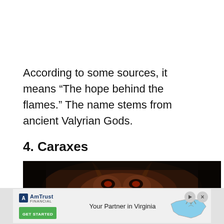According to some sources, it means “The hope behind the flames.” The name stems from ancient Valyrian Gods.
4. Caraxes
[Figure (photo): Close-up photo of a dragon's face (Caraxes) with reddish-brown scales, horns, and dark background.]
[Figure (infographic): AmTrust Insurance advertisement banner with logo, text 'Your Partner in Virginia', a map of Virginia, a play button, and a close button. GET STARTED button in green.]